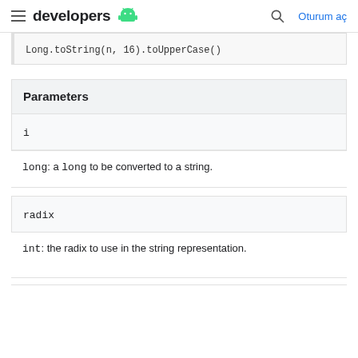developers | Oturum aç
Parameters
i
long: a long to be converted to a string.
radix
int: the radix to use in the string representation.